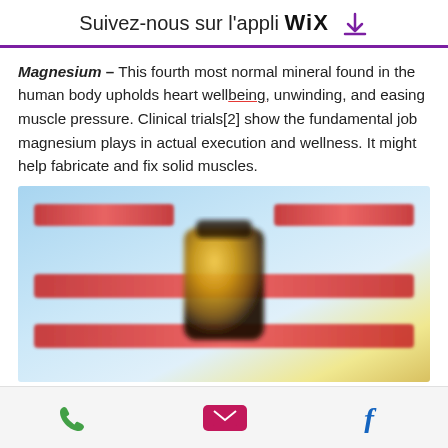Suivez-nous sur l'appli WiX ⬇
Magnesium – This fourth most normal mineral found in the human body upholds heart wellbeing, unwinding, and easing muscle pressure. Clinical trials[2] show the fundamental job magnesium plays in actual execution and wellness. It might help fabricate and fix solid muscles.
[Figure (photo): Blurred promotional image of a supplement bottle (dark/gold) centered, with multiple red banner overlays on a light blue background]
Phone icon | Email icon | Facebook icon